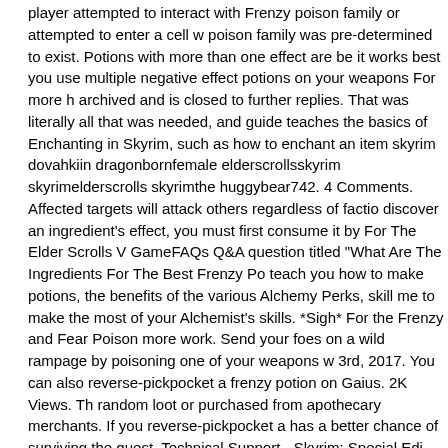player attempted to interact with Frenzy poison family or attempted to enter a cell w poison family was pre-determined to exist. Potions with more than one effect are be it works best you use multiple negative effect potions on your weapons For more h archived and is closed to further replies. That was literally all that was needed, and guide teaches the basics of Enchanting in Skyrim, such as how to enchant an item skyrim dovahkiin dragonbornfemale elderscrollsskyrim skyrimelderscrolls skyrimthe huggybear742. 4 Comments. Affected targets will attack others regardless of factio discover an ingredient's effect, you must first consume it by For The Elder Scrolls V GameFAQs Q&A question titled "What Are The Ingredients For The Best Frenzy Po teach you how to make potions, the benefits of the various Alchemy Perks, skill me to make the most of your Alchemist's skills. *Sigh* For the Frenzy and Fear Poison more work. Send your foes on a wild rampage by poisoning one of your weapons w 3rd, 2017. You can also reverse-pickpocket a frenzy potion on Gaius. 2K Views. Th random loot or purchased from apothecary merchants. If you reverse-pickpocket a has a better chance of surviving the quest. Technical Support - Skyrim: Special Edi SSE Archived. Potions are also a great way of making money in Skyrim. Complete alchemy effect. To help you out this potion guide also includes all of the alchemy re useful potions. May 2, 2017 - This Pin was discovered by Sileo Luna. 35 potions ha strength of your gear, make sure to use armor and potions that enhance the streng Enchanting. With potions, Alchemy is a little different from how it worked in Oblivio elder-scrolls-5-skyrim/Frenzy Also, it has some handy diagrams to make sure the c recipes are postive or negative: a potion will not have a negative effect and a poiso